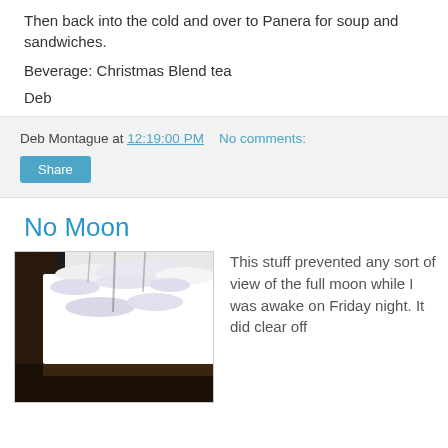Then back into the cold and over to Panera for soup and sandwiches.
Beverage: Christmas Blend tea
Deb
Deb Montague at 12:19:00 PM    No comments:
Share
No Moon
[Figure (photo): Photo of snow-covered deck railing with dark wooden beams, heavy snow visible on horizontal surfaces, trees visible in background through snow.]
This stuff prevented any sort of view of the full moon while I was awake on Friday night. It did clear off